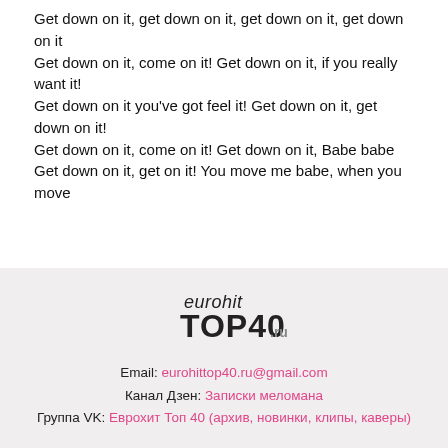Get down on it, get down on it, get down on it, get down on it
Get down on it, come on it! Get down on it, if you really want it!
Get down on it you've got feel it! Get down on it, get down on it!
Get down on it, come on it! Get down on it, Babe babe
Get down on it, get on it! You move me babe, when you move
[Figure (logo): eurohit TOP40 .ru logo]
Email: eurohittop40.ru@gmail.com
Канал Дзен: Записки меломана
Группа VK: Еврохит Топ 40 (архив, новинки, клипы, каверы)